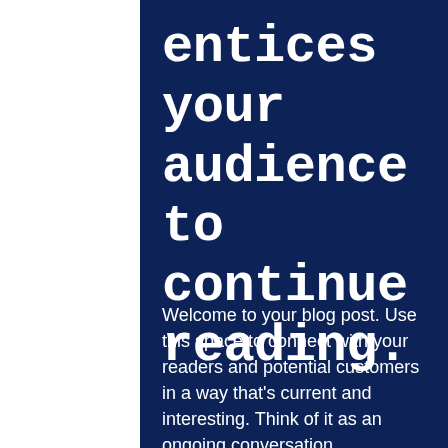entices your audience to continue reading.
Welcome to your blog post. Use this space to connect with your readers and potential customers in a way that's current and interesting. Think of it as an ongoing conversation